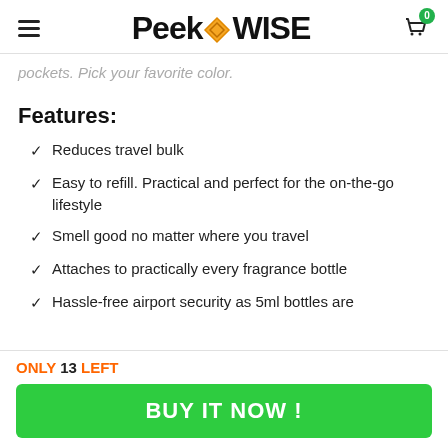PeekWise (logo with navigation and cart)
pockets. Pick your favorite color.
Features:
Reduces travel bulk
Easy to refill. Practical and perfect for the on-the-go lifestyle
Smell good no matter where you travel
Attaches to practically every fragrance bottle
Hassle-free airport security as 5ml bottles are
ONLY 13 LEFT
BUY IT NOW !